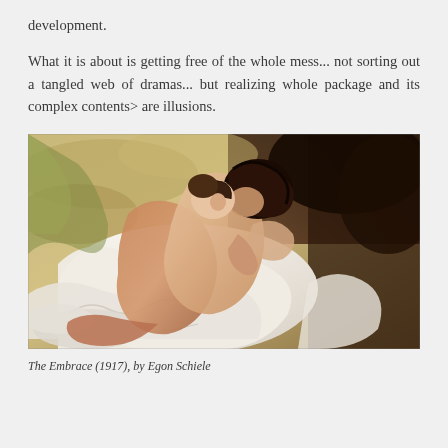development.
What it is about is getting free of the whole mess... not sorting out a tangled web of dramas... but realizing whole package and its complex contents> are illusions.
[Figure (illustration): Painting 'The Embrace' (1917) by Egon Schiele, showing two figures embracing, rendered in Schiele's characteristic expressionist style with warm skin tones against a white fabric background.]
The Embrace (1917), by Egon Schiele